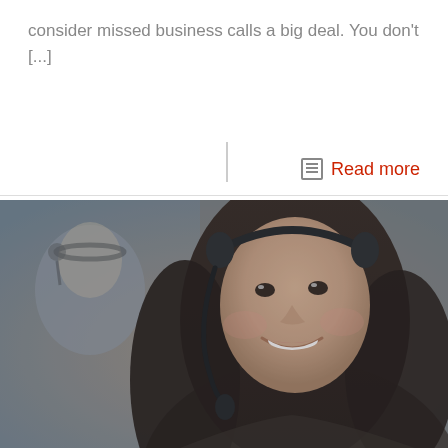consider missed business calls a big deal. You don't [...]
Read more
[Figure (photo): A smiling woman wearing a call center headset with microphone, dark hair, in the foreground. Another person with headset visible blurred in the background. Dark muted tones with slight overlay.]